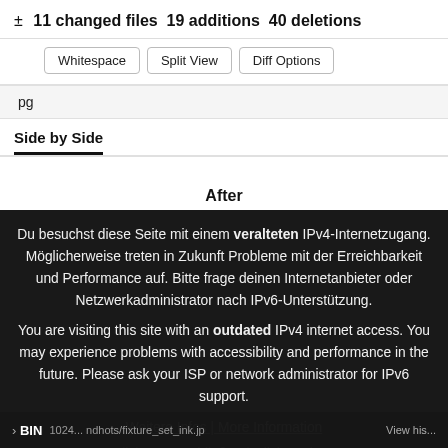± 11 changed files 19 additions 40 deletions
Whitespace | Split View | Diff Options
pg
Side by Side
After
Du besuchst diese Seite mit einem veralteten IPv4-Internetzugang. Möglicherweise treten in Zukunft Probleme mit der Erreichbarkeit und Performance auf. Bitte frage deinen Internetanbieter oder Netzwerkadministrator nach IPv6-Unterstützung.
You are visiting this site with an outdated IPv4 internet access. You may experience problems with accessibility and performance in the future. Please ask your ISP or network administrator for IPv6 support.
Weitere Infos | More Information
Klicke zum schließen | Click to close
BIN  View his...